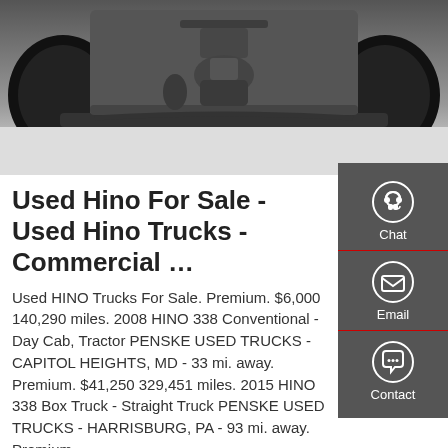[Figure (photo): Underside view of a truck axle and wheels photographed from below, showing the suspension, differential, and tires on a paved surface.]
Used Hino For Sale - Used Hino Trucks - Commercial …
Used HINO Trucks For Sale. Premium. $6,000 140,290 miles. 2008 HINO 338 Conventional - Day Cab, Tractor PENSKE USED TRUCKS - CAPITOL HEIGHTS, MD - 33 mi. away. Premium. $41,250 329,451 miles. 2015 HINO 338 Box Truck - Straight Truck PENSKE USED TRUCKS - HARRISBURG, PA - 93 mi. away. Premium.
[Figure (infographic): Right sidebar with three icons: Chat (headset icon), Email (envelope icon), Contact (speech bubble with dots icon), each separated by a red divider line on a dark gray background.]
GET A QUOTE